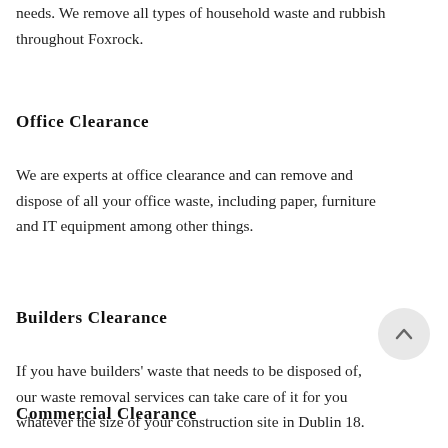needs. We remove all types of household waste and rubbish throughout Foxrock.
Office Clearance
We are experts at office clearance and can remove and dispose of all your office waste, including paper, furniture and IT equipment among other things.
Builders Clearance
If you have builders' waste that needs to be disposed of, our waste removal services can take care of it for you whatever the size of your construction site in Dublin 18.
Commercial Clearance